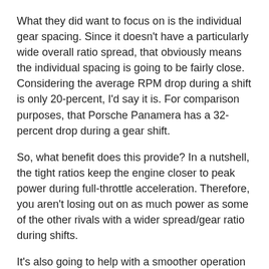What they did want to focus on is the individual gear spacing. Since it doesn't have a particularly wide overall ratio spread, that obviously means the individual spacing is going to be fairly close. Considering the average RPM drop during a shift is only 20-percent, I'd say it is. For comparison purposes, that Porsche Panamera has a 32-percent drop during a gear shift.
So, what benefit does this provide? In a nutshell, the tight ratios keep the engine closer to peak power during full-throttle acceleration. Therefore, you aren't losing out on as much power as some of the other rivals with a wider spread/gear ratio during shifts.
It's also going to help with a smoother operation when towing a trailer, which is something that both Ford and GM (Chevy) trucks will appreciate. The new transmission features a torque capacity of 650 lb.-ft.
What Models Will it Equip?
With a 10-speed automatic, rear-drive transmission like this, it's no doubt a precursor to a family of 10-speed automatics in the future. Since the less-bulky RWD